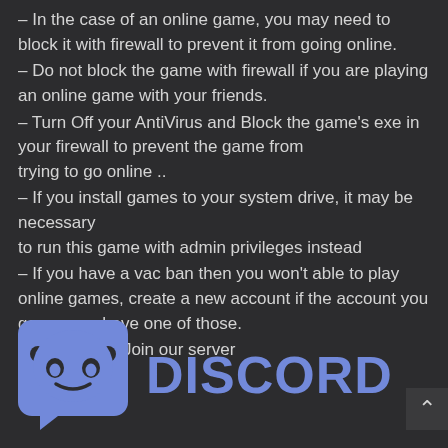– In the case of an online game, you may need to block it with firewall to prevent it from going online.
– Do not block the game with firewall if you are playing an online game with your friends.
– Turn Off your AntiVirus and Block the game's exe in your firewall to prevent the game from trying to go online ..
– If you install games to your system drive, it may be necessary to run this game with admin privileges instead
– If you have a vac ban then you won't able to play online games, create a new account if the account you gonna use have one of those.
-Need Help !! Join our server
[Figure (logo): Discord logo with icon and text 'DISCORD' in purple]